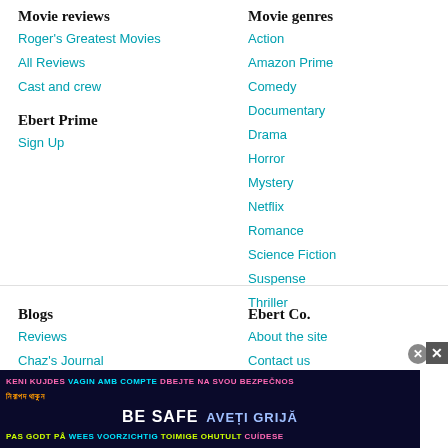Movie reviews
Roger's Greatest Movies
All Reviews
Cast and crew
Ebert Prime
Sign Up
Movie genres
Action
Amazon Prime
Comedy
Documentary
Drama
Horror
Mystery
Netflix
Romance
Science Fiction
Suspense
Thriller
Blogs
Reviews
Chaz's Journal
Great Movies
Ebert Co.
About the site
Contact us
Advertise with Us
[Figure (infographic): Dark blue ad banner with multilingual safety message 'BE SAFE' in large white text, with text in multiple languages including Bengali, Romanian, Dutch, Finnish, and others. Two close buttons on the right.]